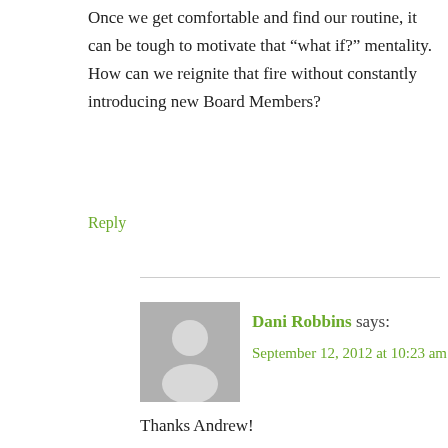Once we get comfortable and find our routine, it can be tough to motivate that “what if?” mentality. How can we reignite that fire without constantly introducing new Board Members?
Reply
Dani Robbins says:
September 12, 2012 at 10:23 am
Thanks Andrew!
I define Organizational culture as the acceptable norms and behaviors of the people who make up an organization. It is a combination of invisible elements that impact how people and the organization operate, which includes our stated and agreed upon values, how we talk to and about